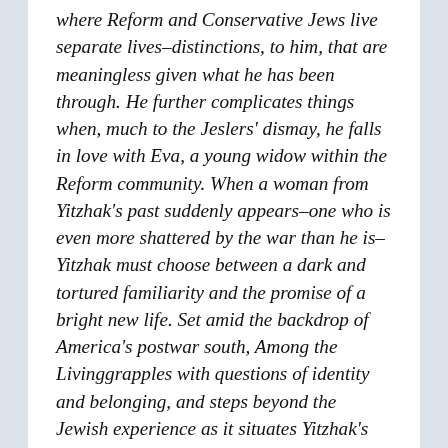where Reform and Conservative Jews live separate lives–distinctions, to him, that are meaningless given what he has been through. He further complicates things when, much to the Jeslers' dismay, he falls in love with Eva, a young widow within the Reform community. When a woman from Yitzhak's past suddenly appears–one who is even more shattered by the war than he is–Yitzhak must choose between a dark and tortured familiarity and the promise of a bright new life. Set amid the backdrop of America's postwar south, Among the Livinggrapples with questions of identity and belonging, and steps beyond the Jewish experience as it situates Yitzhak's story